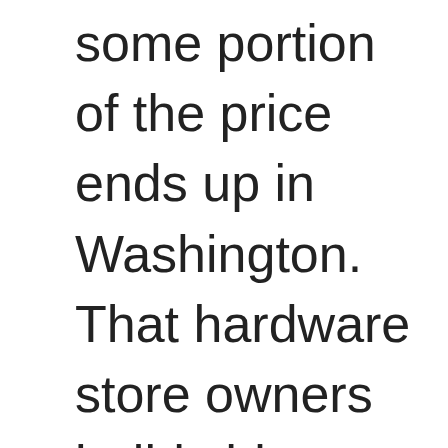some portion of the price ends up in Washington. That hardware store owners builds his taxes into the price. So